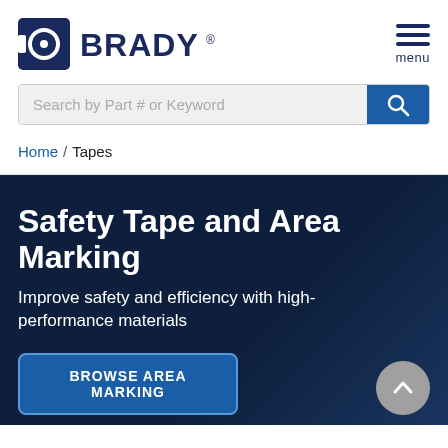[Figure (logo): Brady brand logo with blue square icon and BRADY wordmark in dark navy blue]
[Figure (other): Hamburger menu icon with three horizontal lines above the word 'menu']
[Figure (other): Search bar with placeholder text 'Search by Part # or Keyword' and a blue search button with magnifying glass icon]
Home / Tapes
Safety Tape and Area Marking
Improve safety and efficiency with high-performance materials
BROWSE AREA MARKING